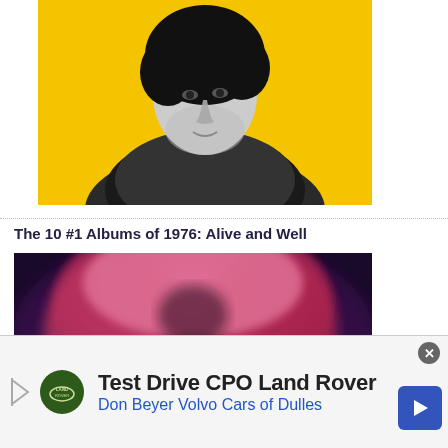[Figure (photo): Black and white portrait photo of a young man with curly hair wearing a patterned shirt, against a bright yellow background]
The 10 #1 Albums of 1976: Alive and Well
[Figure (photo): Close-up blurred photo of a person with pink/red curly hair, face partially visible]
Test Drive CPO Land Rover
Don Beyer Volvo Cars of Dulles